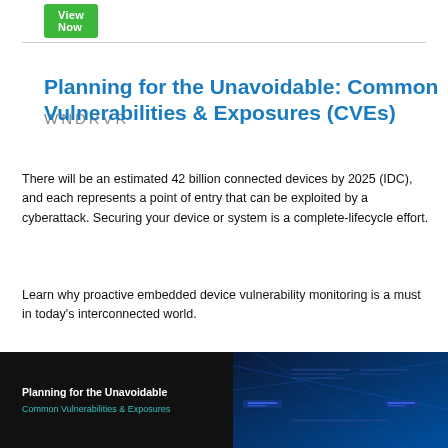[Figure (other): Green 'View Now' button at top left]
WNDRVR
Planning for the Unavoidable: Common Vulnerabilities & Exposures (CVEs)
There will be an estimated 42 billion connected devices by 2025 (IDC), and each represents a point of entry that can be exploited by a cyberattack. Securing your device or system is a complete-lifecycle effort.
Learn why proactive embedded device vulnerability monitoring is a must in today's interconnected world.
[Figure (illustration): Dark promotional image split in two halves: left side black with white bold text 'Planning for the Unavoidable' and teal subtitle 'Common Vulnerabilities & Exposures'; right side shows blue digital/circuit board aesthetic background]